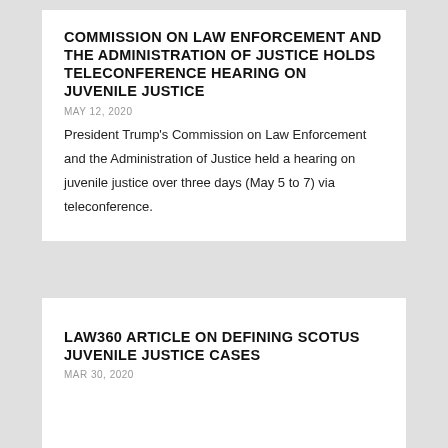COMMISSION ON LAW ENFORCEMENT AND THE ADMINISTRATION OF JUSTICE HOLDS TELECONFERENCE HEARING ON JUVENILE JUSTICE
MAY 12, 2020
President Trump's Commission on Law Enforcement and the Administration of Justice held a hearing on juvenile justice over three days (May 5 to 7) via teleconference.
LAW360 ARTICLE ON DEFINING SCOTUS JUVENILE JUSTICE CASES
MAR 30, 2020